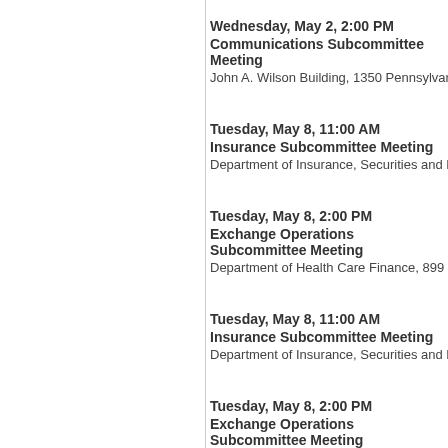Wednesday, May 2, 2:00 PM
Communications Subcommittee Meeting
John A. Wilson Building, 1350 Pennsylvania Avenue NW, R
Tuesday, May 8, 11:00 AM
Insurance Subcommittee Meeting
Department of Insurance, Securities and Banking, 810 Firs
Tuesday, May 8, 2:00 PM
Exchange Operations Subcommittee Meeting
Department of Health Care Finance, 899 North Capitol Stre
Tuesday, May 8, 11:00 AM
Insurance Subcommittee Meeting
Department of Insurance, Securities and Banking, 810 Firs
Tuesday, May 8, 2:00 PM
Exchange Operations Subcommittee Meeting